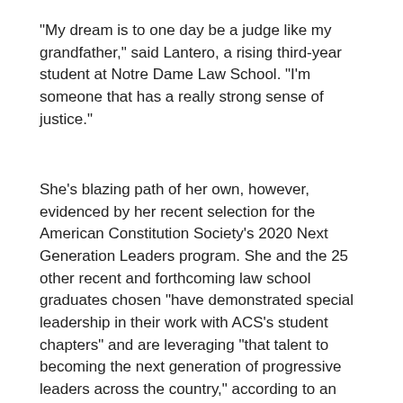"My dream is to one day be a judge like my grandfather," said Lantero, a rising third-year student at Notre Dame Law School. "I'm someone that has a really strong sense of justice."
She's blazing path of her own, however, evidenced by her recent selection for the American Constitution Society's 2020 Next Generation Leaders program. She and the 25 other recent and forthcoming law school graduates chosen "have demonstrated special leadership in their work with ACS's student chapters" and are leveraging "that talent to becoming the next generation of progressive leaders across the country," according to an ACS statement.
"They apparently expect great things," Lantero quipped.
Lantero decided to defer law school for several years